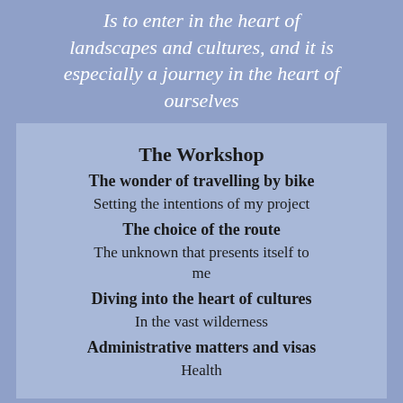Is to enter in the heart of landscapes and cultures, and it is especially a journey in the heart of ourselves
The Workshop
The wonder of travelling by bike
Setting the intentions of my project
The choice of the route
The unknown that presents itself to me
Diving into the heart of cultures
In the vast wilderness
Administrative matters and visas
Health